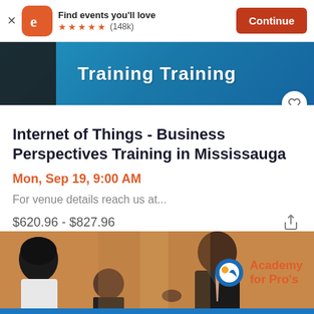[Figure (screenshot): Eventbrite app banner with orange 'e' logo, 'Find events you'll love', 5 orange stars, (148k) reviews, and orange Continue button]
[Figure (photo): Training banner image with blue background and bold white text 'Training Training', with a dark curtain/shadow on the left side and a heart/favorite button]
Internet of Things - Business Perspectives Training in Mississauga
Mon, Sep 19, 9:00 AM
For venue details reach us at...
$620.96 - $827.96
[Figure (photo): Academy for Pro's advertisement banner showing two people in a business meeting with a man in a suit, and the Academy for Pro's logo on the right]